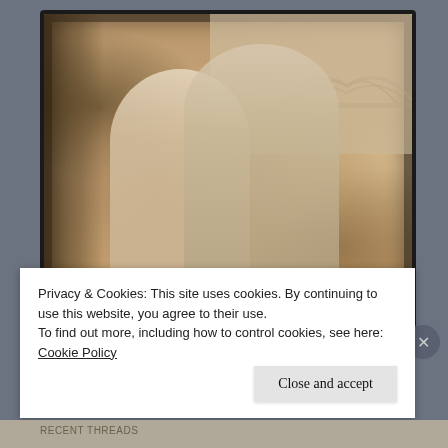[Figure (photo): Sepia-toned engagement photo of a couple (woman on left with curly hair, man on right wearing glasses and striped shirt) standing outdoors near a tree, with an arched bridge visible in the background. Nicollet Island, Minneapolis, September 2002.]
Our engagement photo, September 2002, Nicollet Island, Minneapolis. Photo Credit Meghan Doll
Privacy & Cookies: This site uses cookies. By continuing to use this website, you agree to their use.
To find out more, including how to control cookies, see here: Cookie Policy
Close and accept